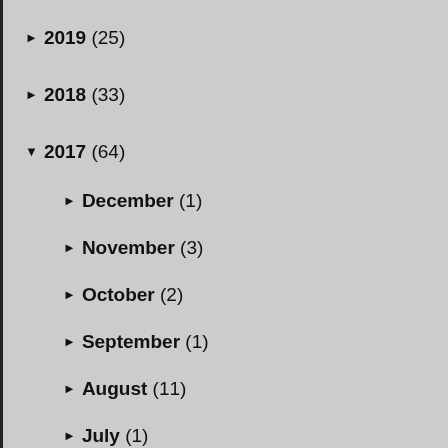▶ 2019 (25)
▶ 2018 (33)
▼ 2017 (64)
▶ December (1)
▶ November (3)
▶ October (2)
▶ September (1)
▶ August (11)
▶ July (1)
▶ June (2)
▶ May (30)